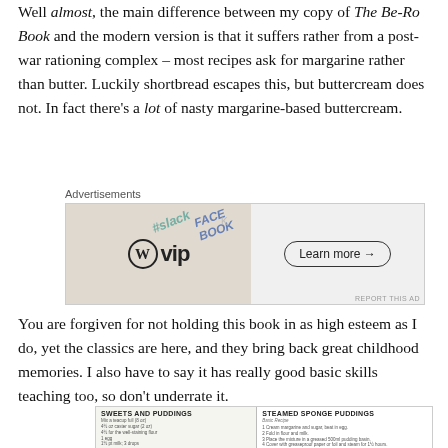Well almost, the main difference between my copy of The Be-Ro Book and the modern version is that it suffers rather from a post-war rationing complex – most recipes ask for margarine rather than butter. Luckily shortbread escapes this, but buttercream does not. In fact there's a lot of nasty margarine-based buttercream.
[Figure (other): WordPress VIP advertisement banner with diagonal text overlays showing 'slack' and 'FACEBOOK', a 'Learn more →' button on the right side, and 'REPORT THIS AD' text at bottom right.]
You are forgiven for not holding this book in as high esteem as I do, yet the classics are here, and they bring back great childhood memories. I also have to say it has really good basic skills teaching too, so don't underrate it.
[Figure (photo): Partial image of a Be-Ro recipe book page showing 'SWEETS AND PUDDINGS' section on the left with illustrations of baking equipment, and 'STEAMED SPONGE PUDDINGS' section on the right with recipe text. Bottom of left section shows 'PINEAPPLE UPSIDE' text (cut off).]